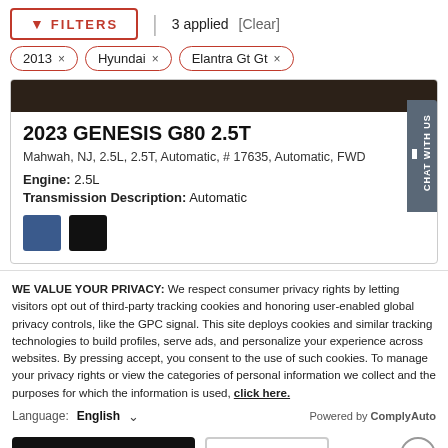FILTERS | 3 applied [Clear]
2013 ×
Hyundai ×
Elantra Gt Gt ×
[Figure (screenshot): Dark brown/black banner image at top of car listing card]
2023 GENESIS G80 2.5T
Mahwah, NJ, 2.5L, 2.5T, Automatic, # 17635, Automatic, FWD
Engine: 2.5L
Transmission Description: Automatic
[Figure (illustration): Two color swatches: blue and black]
WE VALUE YOUR PRIVACY: We respect consumer privacy rights by letting visitors opt out of third-party tracking cookies and honoring user-enabled global privacy controls, like the GPC signal. This site deploys cookies and similar tracking technologies to build profiles, serve ads, and personalize your experience across websites. By pressing accept, you consent to the use of such cookies. To manage your privacy rights or view the categories of personal information we collect and the purposes for which the information is used, click here.
Language: English ∨  Powered by ComplyAuto
Accept and Continue →  Privacy Policy  ×